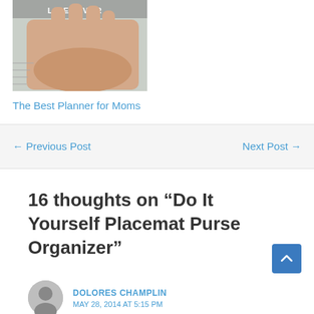[Figure (photo): Photo of a hand writing in a planner/notebook, with 'LIFESAVER' text visible at top]
The Best Planner for Moms
← Previous Post
Next Post →
16 thoughts on "Do It Yourself Placemat Purse Organizer"
DOLORES CHAMPLIN
MAY 28, 2014 AT 5:15 PM
When I tried this it was to deep and small going around. What size